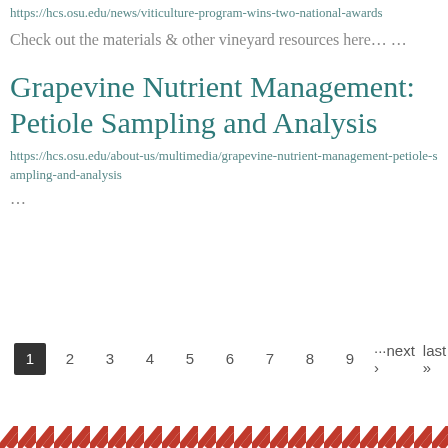https://hcs.osu.edu/news/viticulture-program-wins-two-national-awards
Check out the materials & other vineyard resources here… …
Grapevine Nutrient Management: Petiole Sampling and Analysis
https://hcs.osu.edu/about-us/multimedia/grapevine-nutrient-management-petiole-sampling-and-analysis
…
1 2 3 4 5 6 7 8 9 ···next › last »